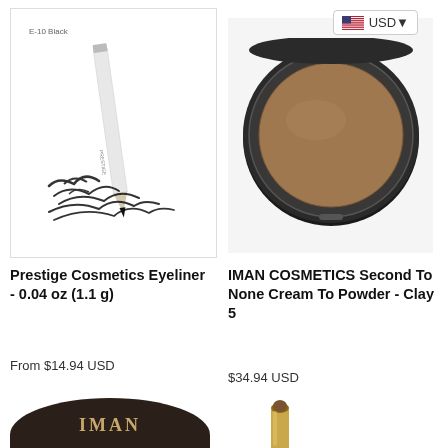[Figure (photo): Prestige Cosmetics eyeliner pencil product image showing white pencil with black tip and ink strokes, labeled E-10 Black]
[Figure (photo): IMAN Cosmetics Second To None Cream To Powder compact, Clay 5, round compact with brown powder visible]
Prestige Cosmetics Eyeliner - 0.04 oz (1.1 g)
IMAN COSMETICS Second To None Cream To Powder - Clay 5
From $14.94 USD
$34.94 USD
[Figure (photo): IMAN branded dark brown compact bottom portion]
[Figure (photo): Gold cosmetic stick/concealer product]